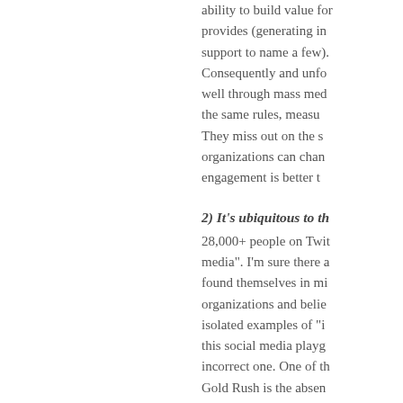ability to build value for the community it provides (generating in... support to name a few). Consequently and unfo... well through mass med... the same rules, measu... They miss out on the s... organizations can chan... engagement is better th...
2) It's ubiquitous to th...
28,000+ people on Twit... media". I'm sure there a... found themselves in mi... organizations and belie... isolated examples of "i... this social media playg... incorrect one. One of th... Gold Rush is the absen... this list of diverse tactic... starting to starve itself a... business to rise to the t...
3) Social media is the...